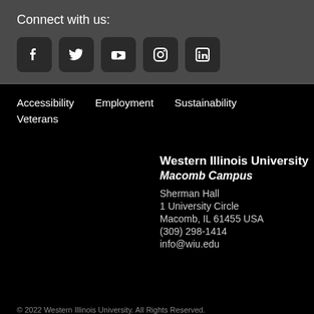Connect with us:
[Figure (infographic): Social media icons: Facebook, Twitter, YouTube, Instagram, LinkedIn]
Accessibility
Employment
Sustainability
Veterans
Western Illinois University
Macomb Campus
Sherman Hall
1 University Circle
Macomb, IL 61455 USA
(309) 298-1414
info@wiu.edu
© 2022 Western Illinois University. All Rights Reserved.